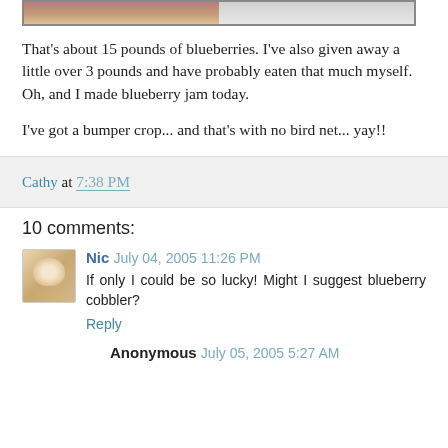[Figure (photo): Partial view of a photo strip showing blueberries or food items, cropped at top of page]
That's about 15 pounds of blueberries. I've also given away a little over 3 pounds and have probably eaten that much myself. Oh, and I made blueberry jam today.

I've got a bumper crop... and that's with no bird net... yay!!
Cathy at 7:38 PM
10 comments:
Nic July 04, 2005 11:26 PM
If only I could be so lucky! Might I suggest blueberry cobbler?
Reply
Anonymous July 05, 2005 5:27 AM